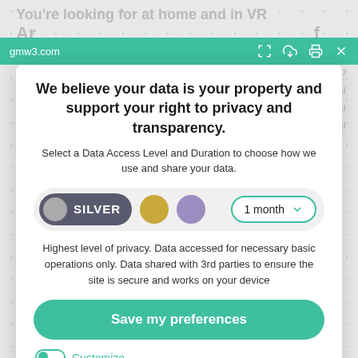gmw3.com
We believe your data is your property and support your right to privacy and transparency.
Select a Data Access Level and Duration to choose how we use and share your data.
[Figure (screenshot): Privacy consent modal with SILVER level toggle selected, gold and purple level dots, and a 1 month duration dropdown]
Highest level of privacy. Data accessed for necessary basic operations only. Data shared with 3rd parties to ensure the site is secure and works on your device
Save my preferences
Customize